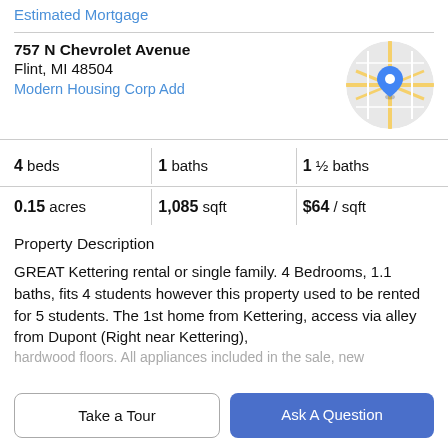Estimated Mortgage
757 N Chevrolet Avenue
Flint, MI 48504
Modern Housing Corp Add
[Figure (map): Circular map thumbnail showing street map with a blue location pin marker]
4 beds | 1 baths | 1 ½ baths
0.15 acres | 1,085 sqft | $64 / sqft
Property Description
GREAT Kettering rental or single family. 4 Bedrooms, 1.1 baths, fits 4 students however this property used to be rented for 5 students. The 1st home from Kettering, access via alley from Dupont (Right near Kettering),
hardwood floors. All appliances included in the sale, new
Take a Tour
Ask A Question